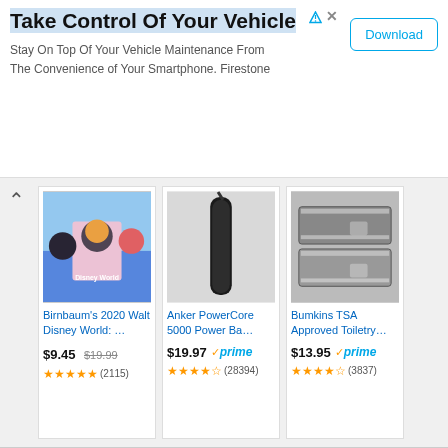[Figure (infographic): Advertisement banner for Firestone vehicle maintenance app with title 'Take Control Of Your Vehicle', subtitle text, and Download button]
[Figure (infographic): Amazon product card: Birnbaum's 2020 Walt Disney World book, $9.45 (was $19.99), 4.5 stars, 2115 reviews]
[Figure (infographic): Amazon product card: Anker PowerCore 5000 Power Bank, $19.97 with Prime, 4.5 stars, 28394 reviews]
[Figure (infographic): Amazon product card: Bumkins TSA Approved Toiletry bags, $13.95 with Prime, 4.5 stars, 3837 reviews]
Search Amazon
Ads by Amazon
RELATED POSTS